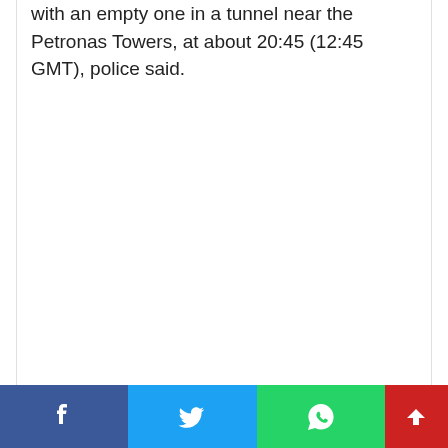with an empty one in a tunnel near the Petronas Towers, at about 20:45 (12:45 GMT), police said.
[Figure (infographic): Social media share bar at bottom: Facebook (blue), Twitter (light blue), WhatsApp (green), scroll-to-top (red) buttons]